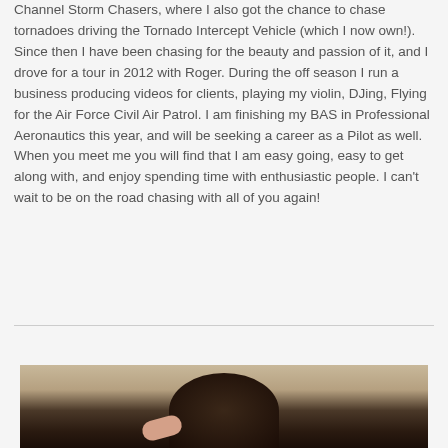Channel Storm Chasers, where I also got the chance to chase tornadoes driving the Tornado Intercept Vehicle (which I now own!). Since then I have been chasing for the beauty and passion of it, and I drove for a tour in 2012 with Roger. During the off season I run a business producing videos for clients, playing my violin, DJing, Flying for the Air Force Civil Air Patrol. I am finishing my BAS in Professional Aeronautics this year, and will be seeking a career as a Pilot as well. When you meet me you will find that I am easy going, easy to get along with, and enjoy spending time with enthusiastic people. I can't wait to be on the road chasing with all of you again!
[Figure (photo): Partial photo of a person, showing the top of their head and a hand at the bottom, against a warm tan/beige background]